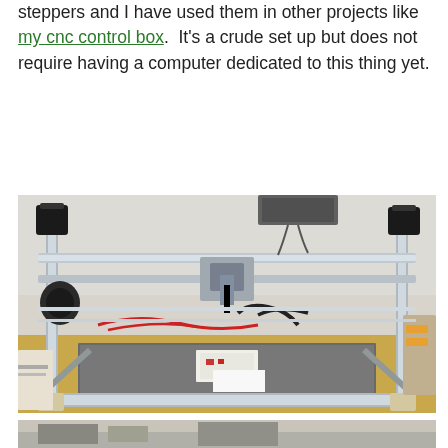steppers and I have used them in other projects like my cnc control box.  It's a crude set up but does not require having a computer dedicated to this thing yet.
[Figure (photo): A DIY CNC machine frame made from aluminum extrusions on a workbench. The machine has stepper motors at the corners, guide rods, a central carriage/head, and a flat metal bed. Wiring (red and black cables) is visible along with various electronics components scattered on the workbench.]
[Figure (photo): Partial view of another photo at the bottom of the page, showing what appears to be another piece of workshop/CNC equipment.]